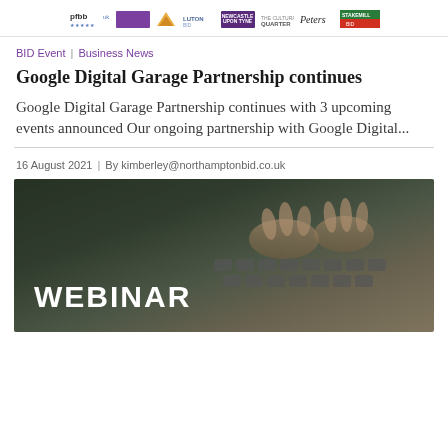pfbb | [purple logo] | [various partner logos including Lutonso, Newcastle, Quarter, Peters, StakemillBID]
BID Event | Business News
Google Digital Garage Partnership continues
Google Digital Garage Partnership continues with 3 upcoming events announced Our ongoing partnership with Google Digital...
16 August 2021  |  By kimberley@northamptonbid.co.uk
[Figure (photo): Dark-toned photo of hands typing on a laptop keyboard, overlaid with the large white text 'WEBINAR' in the lower-left corner]